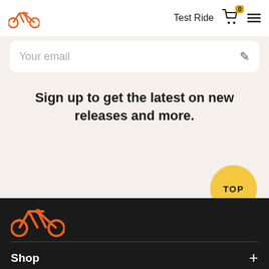Test Ride
Your email
Sign up to get the latest on new releases and more.
[Figure (illustration): Orange bicycle logo icon]
Shop